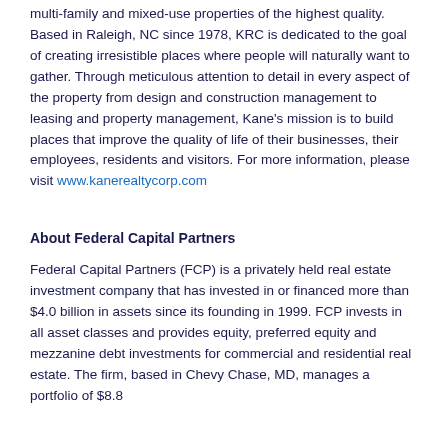multi-family and mixed-use properties of the highest quality. Based in Raleigh, NC since 1978, KRC is dedicated to the goal of creating irresistible places where people will naturally want to gather. Through meticulous attention to detail in every aspect of the property from design and construction management to leasing and property management, Kane's mission is to build places that improve the quality of life of their businesses, their employees, residents and visitors. For more information, please visit www.kanerealtycorp.com
About Federal Capital Partners
Federal Capital Partners (FCP) is a privately held real estate investment company that has invested in or financed more than $4.0 billion in assets since its founding in 1999. FCP invests in all asset classes and provides equity, preferred equity and mezzanine debt investments for commercial and residential real estate. The firm, based in Chevy Chase, MD...